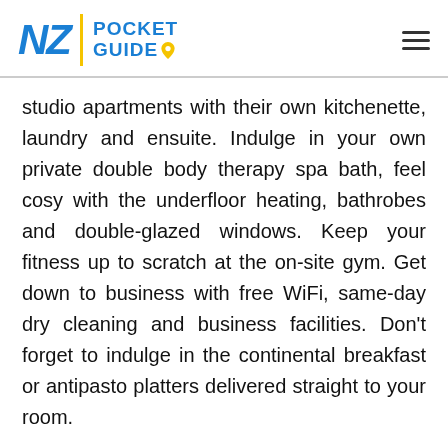NZ Pocket Guide
studio apartments with their own kitchenette, laundry and ensuite. Indulge in your own private double body therapy spa bath, feel cosy with the underfloor heating, bathrobes and double-glazed windows. Keep your fitness up to scratch at the on-site gym. Get down to business with free WiFi, same-day dry cleaning and business facilities. Don't forget to indulge in the continental breakfast or antipasto platters delivered straight to your room.